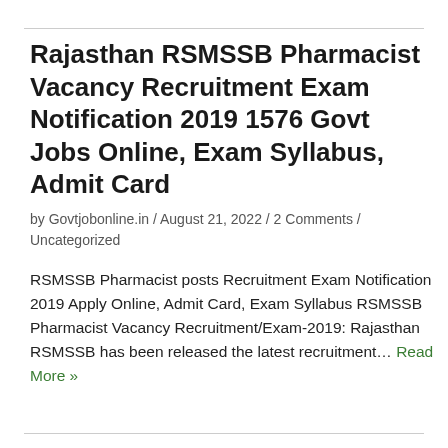Rajasthan RSMSSB Pharmacist Vacancy Recruitment Exam Notification 2019 1576 Govt Jobs Online, Exam Syllabus, Admit Card
by Govtjobonline.in / August 21, 2022 / 2 Comments / Uncategorized
RSMSSB Pharmacist posts Recruitment Exam Notification 2019 Apply Online, Admit Card, Exam Syllabus RSMSSB Pharmacist Vacancy Recruitment/Exam-2019: Rajasthan RSMSSB has been released the latest recruitment… Read More »